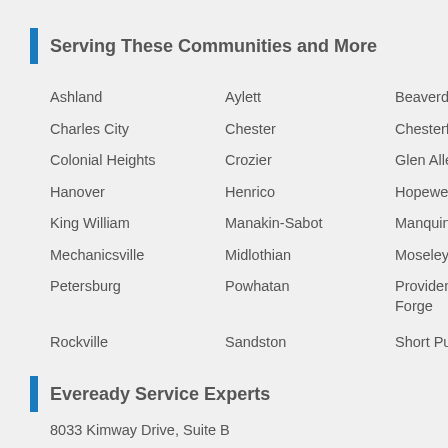Serving These Communities and More
Ashland
Aylett
Beaverdam
Charles City
Chester
Chesterfield
Colonial Heights
Crozier
Glen Allen
Hanover
Henrico
Hopewell
King William
Manakin-Sabot
Manquin
Mechanicsville
Midlothian
Moseley
Petersburg
Powhatan
Providence Forge
Rockville
Sandston
Short Pump
Eveready Service Experts
8033 Kimway Drive, Suite B